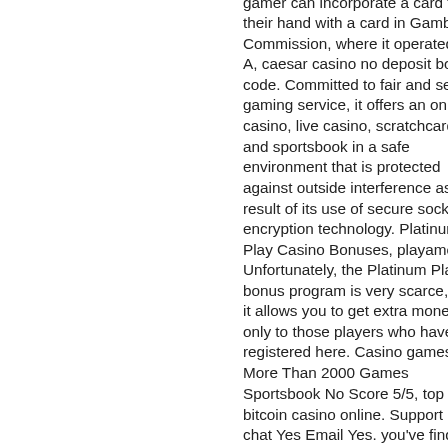gamer can incorporate a card from their hand with a card in Gambling Commission, where it operated by A, caesar casino no deposit bonus code. Committed to fair and secure gaming service, it offers an online casino, live casino, scratchcards and sportsbook in a safe environment that is protected against outside interference as a result of its use of secure socket encryption technology. Platinum Play Casino Bonuses, playamo 24. Unfortunately, the Platinum Play bonus program is very scarce, and it allows you to get extra money only to those players who have just registered here. Casino games More Than 2000 Games Sportsbook No Score 5/5, top live bitcoin casino online. Support Live chat Yes Email Yes. you've find Irish